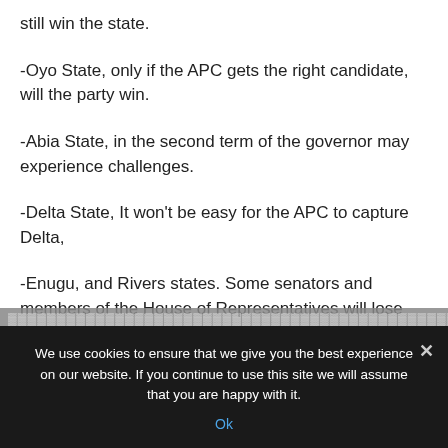still win the state.
-Oyo State, only if the APC gets the right candidate, will the party win.
-Abia State, in the second term of the governor may experience challenges.
-Delta State, It won't be easy for the APC to capture Delta,
-Enugu, and Rivers states. Some senators and members of the House of Representatives will lose re-election bids.
We use cookies to ensure that we give you the best experience on our website. If you continue to use this site we will assume that you are happy with it.
Ok